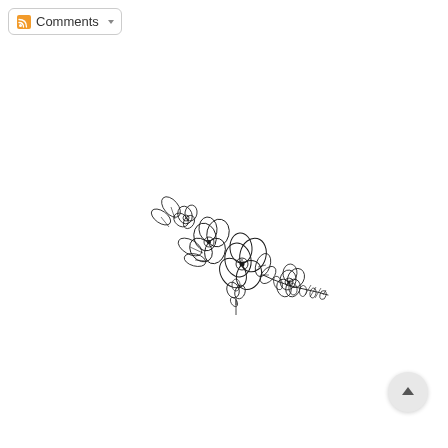Comments
[Figure (illustration): Line art illustration of a floral arrangement with three hibiscus-style flowers and leaves arranged diagonally from upper-left to lower-right, drawn in black outline style.]